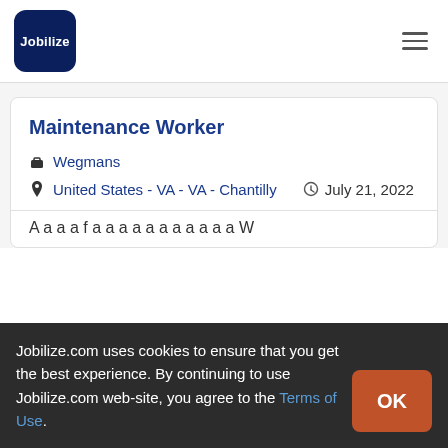Jobilize
Maintenance Worker
Wegmans
United States - VA - VA - Chantilly   July 21, 2022
Jobilize.com uses cookies to ensure that you get the best experience. By continuing to use Jobilize.com web-site, you agree to the Terms of Use.